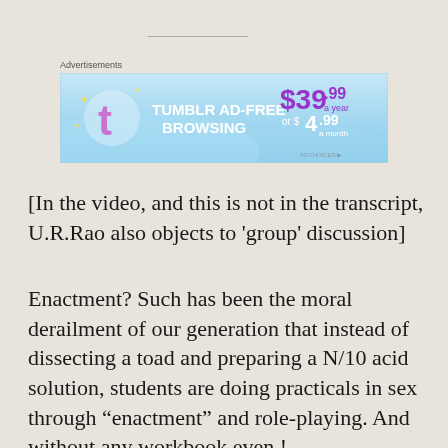[Figure (other): Tumblr Ad-Free Browsing advertisement banner showing $39.99 a year or $4.99 a month pricing with Tumblr logo]
[In the video, and this is not in the transcript, U.R.Rao also objects to ‘group’ discussion]
Enactment? Such has been the moral derailment of our generation that instead of dissecting a toad and preparing a N/10 acid solution, students are doing practicals in sex through “enactment” and role-playing. And without any workbook even !